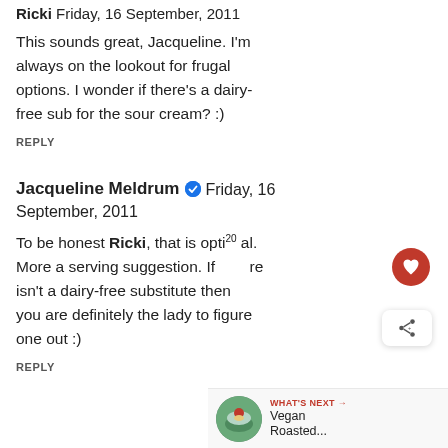Ricki Friday, 16 September, 2011
This sounds great, Jacqueline. I'm always on the lookout for frugal options. I wonder if there's a dairy-free sub for the sour cream? :)
REPLY
Jacqueline Meldrum ✔ Friday, 16 September, 2011
To be honest Ricki, that is optional. More a serving suggestion. If there isn't a dairy-free substitute then you are definitely the lady to figure one out :)
REPLY
[Figure (infographic): WHAT'S NEXT arrow label with a bowl image and text 'Vegan Roasted...']